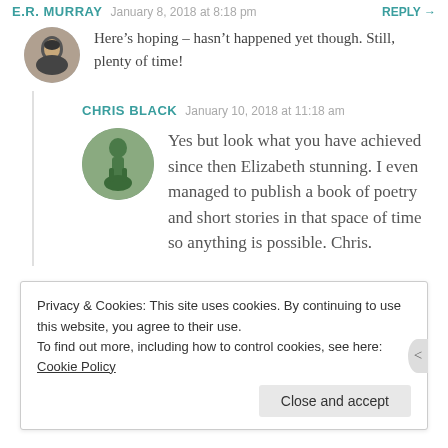E.R. MURRAY   January 8, 2018 at 8:18 pm   REPLY →
Here's hoping – hasn't happened yet though. Still, plenty of time!
CHRIS BLACK   January 10, 2018 at 11:18 am
Yes but look what you have achieved since then Elizabeth stunning. I even managed to publish a book of poetry and short stories in that space of time so anything is possible. Chris.
Privacy & Cookies: This site uses cookies. By continuing to use this website, you agree to their use.
To find out more, including how to control cookies, see here: Cookie Policy
Close and accept